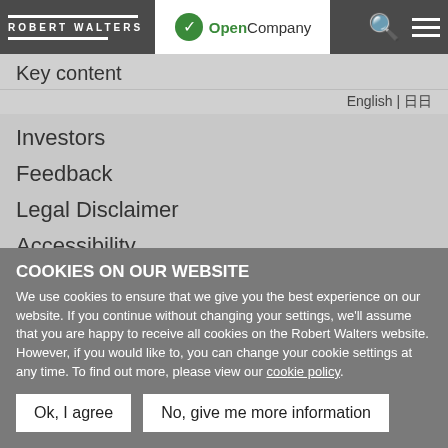ROBERT WALTERS | OpenCompany
Key content
English | 日本語
Investors
Feedback
Legal Disclaimer
Accessibility
Careers
Local offices
Taipei
COOKIES ON OUR WEBSITE
We use cookies to ensure that we give you the best experience on our website. If you continue without changing your settings, we'll assume that you are happy to receive all cookies on the Robert Walters website. However, if you would like to, you can change your cookie settings at any time. To find out more, please view our cookie policy.
Ok, I agree | No, give me more information